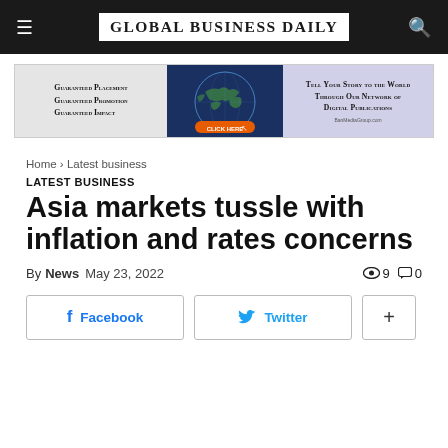GLOBAL BUSINESS DAILY
[Figure (infographic): Advertisement banner: left section shows 'Guaranteed Placement Guaranteed Promotion Guaranteed Impact' text, middle section shows a globe/world map graphic on dark blue background with orange 'CLICK HERE' button, right section on light blue/purple shows 'Tell Your Story to the World Through Our Network of Digital Publications' with BanMediaGroup.com]
Home › Latest business
LATEST BUSINESS
Asia markets tussle with inflation and rates concerns
By News   May 23, 2022   👁 9   💬 0
Facebook   Twitter   +